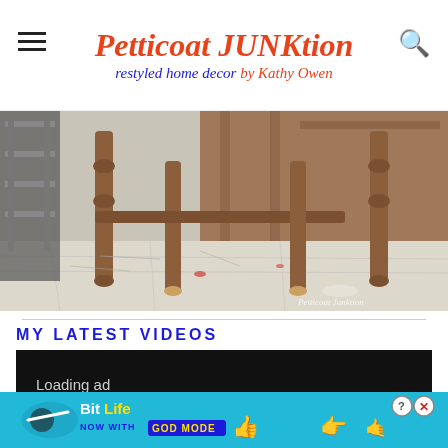Petticoat JUNKtion — restyled home decor by Kathy Owen
[Figure (photo): Close-up photo of wooden table/furniture legs on a paint-splattered white floor, with wooden panels leaning in the background and a metal shelf visible on the left. Watermark reads 'Petticoat Junktion'.]
MY LATEST VIDEOS
Loading ad
[Figure (other): Advertisement banner for BitLife game. Cyan/blue background with BitLife logo, 'NOW WITH GOD MODE' text, a thumbs-up emoji and pointing hand graphic. Has close (X) and help (?) buttons in top right.]